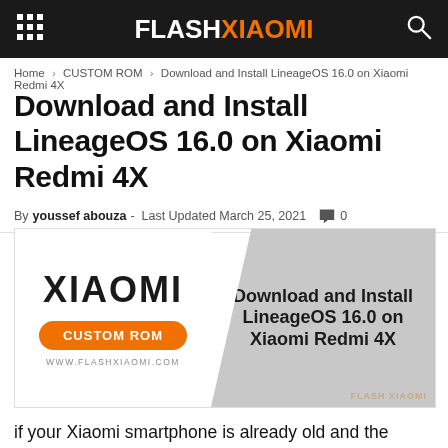FLASHXIAOMI
Home > CUSTOM ROM > Download and Install LineageOS 16.0 on Xiaomi Redmi 4X
Download and Install LineageOS 16.0 on Xiaomi Redmi 4X
By youssef abouza - Last Updated March 25, 2021  0
[Figure (illustration): Featured image showing XIAOMI CUSTOM ROM banner with 'Download and Install LineageOS 16.0 on Xiaomi Redmi 4X' text on right gray panel]
if your Xiaomi smartphone is already old and the manufacturer hasn't released updates to your device yet, or